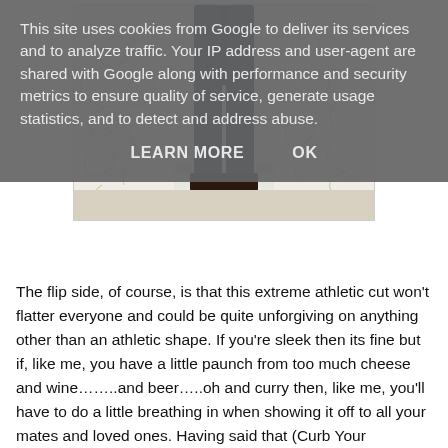This site uses cookies from Google to deliver its services and to analyze traffic. Your IP address and user-agent are shared with Google along with performance and security metrics to ensure quality of service, generate usage statistics, and to detect and address abuse.
LEARN MORE    OK
[Figure (photo): Photo showing the lower body of a person wearing dark blue slim-fit jeans, standing against a white wallpaper with green floral/leaf outline pattern.]
The flip side, of course, is that this extreme athletic cut won't flatter everyone and could be quite unforgiving on anything other than an athletic shape. If you're sleek then its fine but if, like me, you have a little paunch from too much cheese and wine……..and beer…..oh and curry then, like me, you'll have to do a little breathing in when showing it off to all your mates and loved ones. Having said that (Curb Your Enthusiasm Season 7) the material has a nice stretch to it to